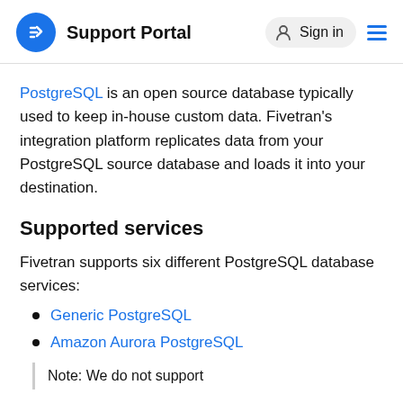Support Portal   Sign in
PostgreSQL is an open source database typically used to keep in-house custom data. Fivetran's integration platform replicates data from your PostgreSQL source database and loads it into your destination.
Supported services
Fivetran supports six different PostgreSQL database services:
Generic PostgreSQL
Amazon Aurora PostgreSQL
Note: We do not support